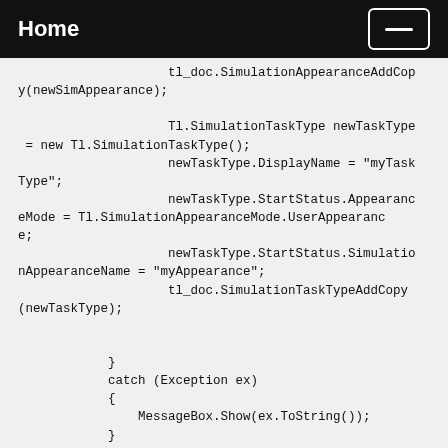Home
tl_doc.SimulationAppearanceAddCopy(newSimAppearance);

                    Tl.SimulationTaskType newTaskType = new Tl.SimulationTaskType();
                    newTaskType.DisplayName = "myTaskType";
                    newTaskType.StartStatus.AppearanceMode = Tl.SimulationAppearanceMode.UserAppearance;
                    newTaskType.StartStatus.SimulationAppearanceName = "myAppearance";
                    tl_doc.SimulationTaskTypeAddCopy(newTaskType);


            }
            catch (Exception ex)
            {
                MessageBox.Show(ex.ToString());
            }